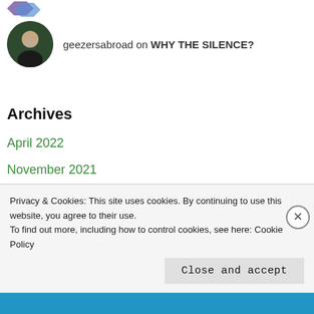[Figure (logo): Decorative logo/icon at top left, purple/blue geometric shape]
geezersabroad on WHY THE SILENCE?
Archives
April 2022
November 2021
September 2021
August 2021
June 2021
April 2021
Privacy & Cookies: This site uses cookies. By continuing to use this website, you agree to their use.
To find out more, including how to control cookies, see here: Cookie Policy
Close and accept